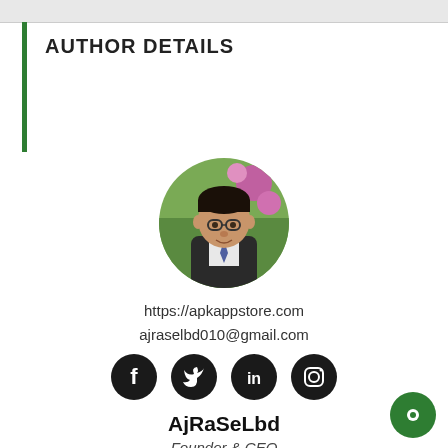AUTHOR DETAILS
[Figure (photo): Circular profile photo of a young man wearing glasses and a dark jacket, with a blurred floral background]
https://apkappstore.com
ajraselbd010@gmail.com
[Figure (infographic): Four social media icons: Facebook, Twitter, LinkedIn, Instagram — black circles with white icons]
AjRaSeLbd
Founder & CEO
Aj RaSeL Founder & CEO at Apkappstore.com. I have a good knowledge of Marketing and expert in Graphic Design & Digital Marketing